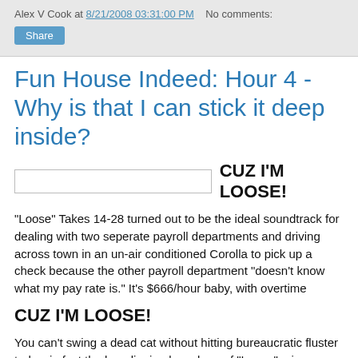Alex V Cook at 8/21/2008 03:31:00 PM   No comments:
Share
Fun House Indeed: Hour 4 - Why is that I can stick it deep inside?
[Figure (other): Blank/white image placeholder inline with text CUZ I'M LOOSE!]
"Loose" Takes 14-28 turned out to be the ideal soundtrack for dealing with two seperate payroll departments and driving across town in an un-air conditioned Corolla to pick up a check because the other payroll department "doesn't know what my pay rate is." It's $666/hour baby, with overtime
CUZ I'M LOOSE!
You can't swing a dead cat without hitting bureaucratic fluster today, in fact the low-dipping bass loop of "Loose" mirrors exactly the orbit of swinging a dead cat, and I told everyone my sad tale of paycheck woe and they didn't care, and I'm